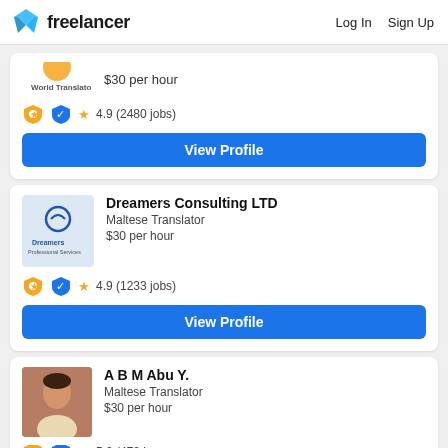freelancer  Log In  Sign Up
$30 per hour
★ 4.9 (2480 jobs)
View Profile
Dreamers Consulting LTD
Maltese Translator
$30 per hour
★ 4.9 (1233 jobs)
View Profile
A B M Abu Y.
Maltese Translator
$30 per hour